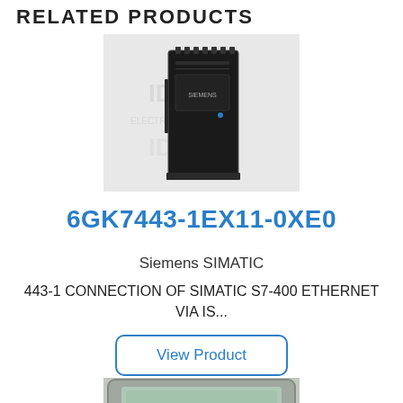RELATED PRODUCTS
[Figure (photo): Siemens SIMATIC 6GK7443-1EX11-0XE0 industrial Ethernet communication module, black rectangular module standing upright with connection ports on top, shown against a white background with watermark logo.]
6GK7443-1EX11-0XE0
Siemens SIMATIC
443-1 CONNECTION OF SIMATIC S7-400 ETHERNET VIA IS...
View Product
[Figure (photo): Partial view of a Siemens SIMATIC touch panel / HMI screen, showing a grey-framed display with a greenish-tinted screen, cropped at the bottom of the page.]